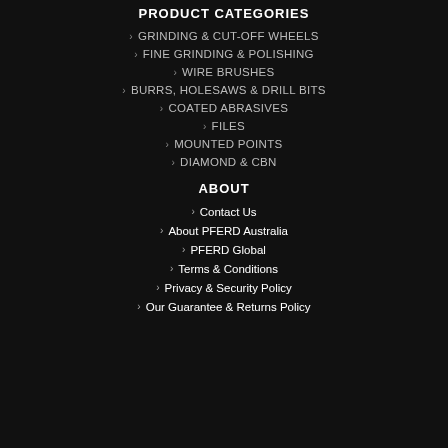PRODUCT CATEGORIES
GRINDING & CUT-OFF WHEELS
FINE GRINDING & POLISHING
WIRE BRUSHES
BURRS, HOLESAWS & DRILL BITS
COATED ABRASIVES
FILES
MOUNTED POINTS
DIAMOND & CBN
ABOUT
Contact Us
About PFERD Australia
PFERD Global
Terms & Conditions
Privacy & Security Policy
Our Guarantee & Returns Policy